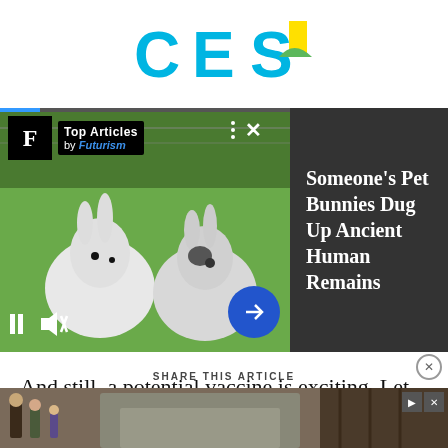[Figure (logo): CES logo in blue and green at top of page]
[Figure (screenshot): Video widget showing two white rabbits in green grass. Top Articles by Futurism branding. Pause, mute, and arrow controls visible. Right panel dark with text: Someone's Pet Bunnies Dug Up Ancient Human Remains]
And still, a potential vaccine is exciting. Let us have a little hope during this dark time.
SHARE THIS ARTICLE
[Figure (photo): Bottom advertisement showing people unloading car with Book Now button]